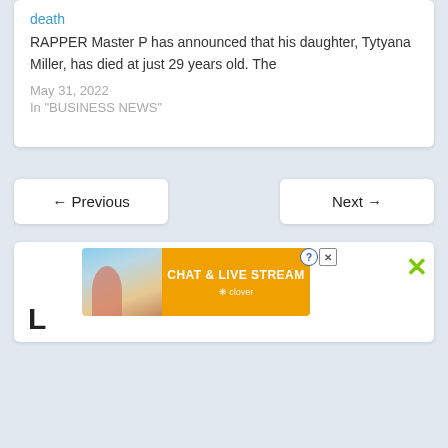death
RAPPER Master P has announced that his daughter, Tytyana Miller, has died at just 29 years old. The
May 31, 2022
In "BUSINESS NEWS"
← Previous
Next →
L
[Figure (screenshot): Advertisement banner: CHAT & LIVE STREAM by clover, with a beach photo on the left side, orange background with bold white text, help and close buttons top right, green X close button far right.]